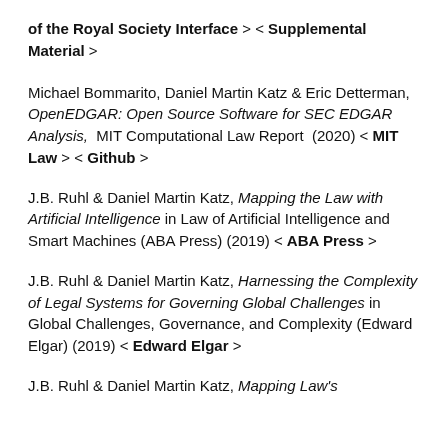of the Royal Society Interface > < Supplemental Material >
Michael Bommarito, Daniel Martin Katz & Eric Detterman, OpenEDGAR: Open Source Software for SEC EDGAR Analysis, MIT Computational Law Report (2020) < MIT Law > < Github >
J.B. Ruhl & Daniel Martin Katz, Mapping the Law with Artificial Intelligence in Law of Artificial Intelligence and Smart Machines (ABA Press) (2019) < ABA Press >
J.B. Ruhl & Daniel Martin Katz, Harnessing the Complexity of Legal Systems for Governing Global Challenges in Global Challenges, Governance, and Complexity (Edward Elgar) (2019) < Edward Elgar >
J.B. Ruhl & Daniel Martin Katz, Mapping Law's...